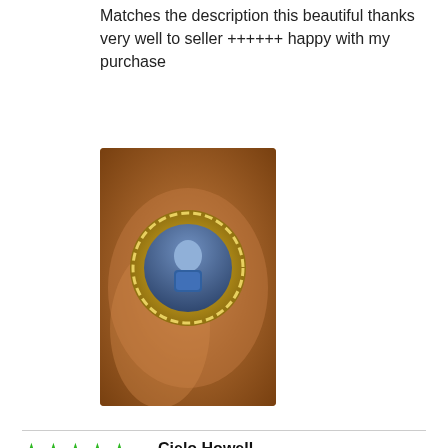Matches the description this beautiful thanks very well to seller ++++++ happy with my purchase
[Figure (photo): Hand holding a gold medallion/pendant with a person's photo inside, circular design with decorative border]
Cielo Howell
08/21/2021
It was perfect and looked just like photo. My wife loved it. Good quality as well.